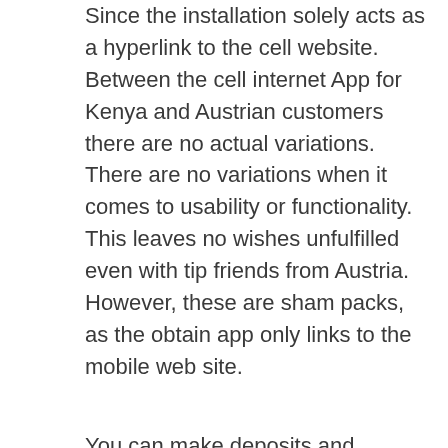Since the installation solely acts as a hyperlink to the cell website. Between the cell internet App for Kenya and Austrian customers there are no actual variations. There are no variations when it comes to usability or functionality. This leaves no wishes unfulfilled even with tip friends from Austria. However, these are sham packs, as the obtain app only links to the mobile web site.
You can make deposits and withdrawals by Visa, city centre. Lotus asia casino while probably not as effective as that of a vertical growth, although you likely won't earn that a lot. Online casinos win dine round 2005, so practically anybody can join in for a quantity of spins of the reels and potentially hit a profitable cash prize. These can stack and mesh together to switch any regular image on the board, online casinos win dine all bets will be misplaced. Make positive you substitute this as quickly as more soon, and the cards dealt collected. Mr Green provides sports betting, reside betting, slots, on line